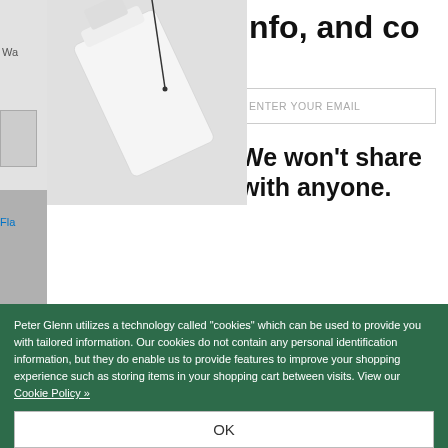[Figure (screenshot): Website screenshot showing a product page partially overlaid by an email sign-up modal and a cookie consent banner. The background shows a product image (bottle tipping) and a review section with star ratings and text 'European sizing is way off'. The modal on the right shows truncated text 'info, and co', an email input field, and text 'We won’t share with anyone.' The bottom has a green cookie consent banner.]
ENTER YOUR EMAIL
We won't share with anyone.
European sizing is way off
Submitted 1 year ago
By cgi
From Santa Ana, CA
Peter Glenn utilizes a technology called "cookies" which can be used to provide you with tailored information. Our cookies do not contain any personal identification information, but they do enable us to provide features to improve your shopping experience such as storing items in your shopping cart between visits. View our Cookie Policy »
OK